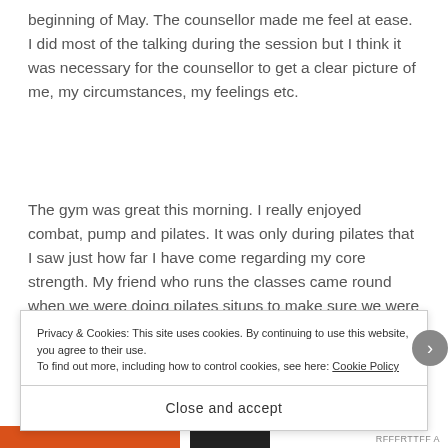beginning of May. The counsellor made me feel at ease. I did most of the talking during the session but I think it was necessary for the counsellor to get a clear picture of me, my circumstances, my feelings etc.
The gym was great this morning. I really enjoyed combat, pump and pilates. It was only during pilates that I saw just how far I have come regarding my core strength. My friend who runs the classes came round when we were doing pilates situps to make sure we were all doing them correctly. She
Privacy & Cookies: This site uses cookies. By continuing to use this website, you agree to their use.
To find out more, including how to control cookies, see here: Cookie Policy
Close and accept